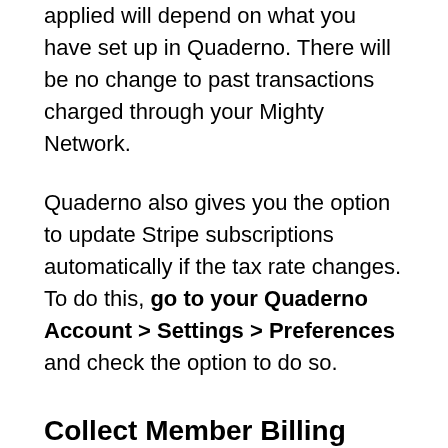applied will depend on what you have set up in Quaderno. There will be no change to past transactions charged through your Mighty Network.
Quaderno also gives you the option to update Stripe subscriptions automatically if the tax rate changes. To do this, go to your Quaderno Account > Settings > Preferences and check the option to do so.
Collect Member Billing Addresses
All member purchases on the web include fields for selecting the country and entering a zip or postal code. This information identifies the location for Quaderno to automatically detect if there are